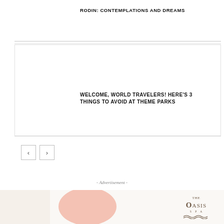RODIN: CONTEMPLATIONS AND DREAMS
[Figure (other): Large image placeholder area for article about Rodin exhibition]
WELCOME, WORLD TRAVELERS! HERE'S 3 THINGS TO AVOID AT THEME PARKS
[Figure (other): Large image placeholder area for theme parks article]
‹  ›
- Advertisement -
[Figure (illustration): Advertisement banner featuring The Oasis Spa logo with pink decorative element and cream product bottle]